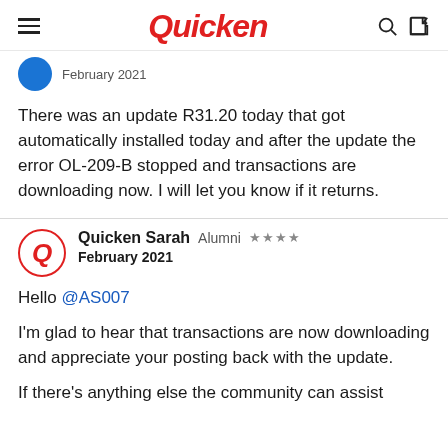Quicken
February 2021
There was an update R31.20 today that got automatically installed today and after the update the error OL-209-B stopped and transactions are downloading now. I will let you know if it returns.
Quicken Sarah  Alumni  ★★★★
February 2021
Hello @AS007
I'm glad to hear that transactions are now downloading and appreciate your posting back with the update.
If there's anything else the community can assist